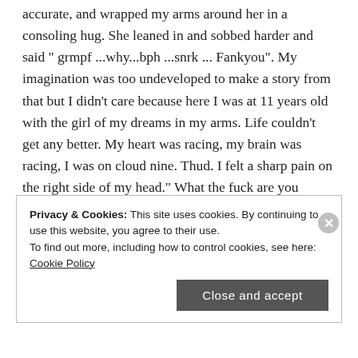accurate, and wrapped my arms around her in a consoling hug. She leaned in and sobbed harder and said " grmpf ...why...bph ...snrk ... Fankyou". My imagination was too undeveloped to make a story from that but I didn't care because here I was at 11 years old with the girl of my dreams in my arms. Life couldn't get any better. My heart was racing, my brain was racing, I was on cloud nine. Thud. I felt a sharp pain on the right side of my head." What the fuck are you doing?" rang as I fell to the ground. Pandemonium broke out as Marion tried to explain that we were friends and I was helping. I tried to
Privacy & Cookies: This site uses cookies. By continuing to use this website, you agree to their use.
To find out more, including how to control cookies, see here: Cookie Policy
Close and accept